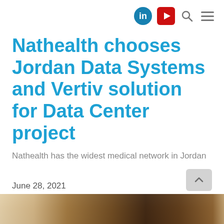[LinkedIn icon] [YouTube icon] [Search icon] [Menu icon]
Nathealth chooses Jordan Data Systems and Vertiv solution for Data Center project
Nathealth has the widest medical network in Jordan
June 28, 2021
[Figure (photo): Bottom photo strip showing a wood-toned interior scene, partially visible at the bottom of the page]